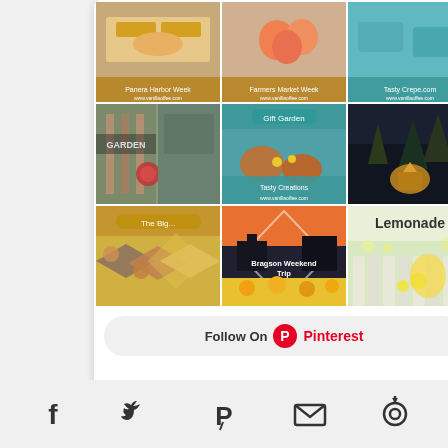[Figure (screenshot): Pinterest widget showing a 3x3 grid of pinned images including food, nature, camping, lemonade and travel photos, with a Follow On Pinterest button at the bottom]
[Figure (infographic): Social share bar at the bottom with Facebook, Twitter, Pinterest, Email and refresh/analytics icons]